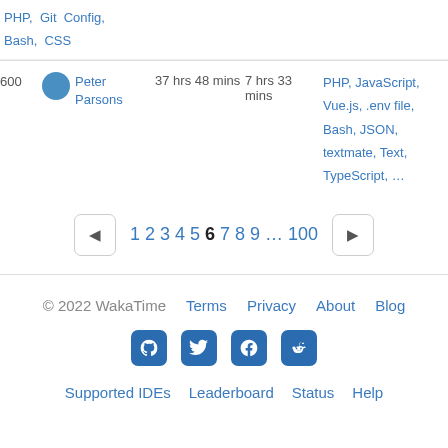PHP, Git Config, Bash, CSS
| Rank | User | Total | Daily Avg | Languages |
| --- | --- | --- | --- | --- |
| 600 | Peter Parsons | 37 hrs 48 mins | 7 hrs 33 mins | PHP, JavaScript, Vue.js, .env file, Bash, JSON, textmate, Text, TypeScript, ... |
1 2 3 4 5 6 7 8 9 ... 100
© 2022 WakaTime  Terms  Privacy  About  Blog  Supported IDEs  Leaderboard  Status  Help